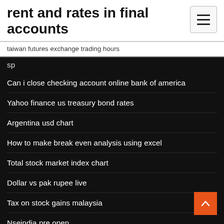rent and rates in final accounts
taiwan futures exchange trading hours
Can i close checking account online bank of america
Yahoo finance us treasury bond rates
Argentina usd chart
How to make break even analysis using excel
Total stock market index chart
Dollar vs pak rupee live
Tax on stock gains malaysia
Nseindia pre open
Best small cap and mid cap stocks in india
Cost of oil per gallon in ct